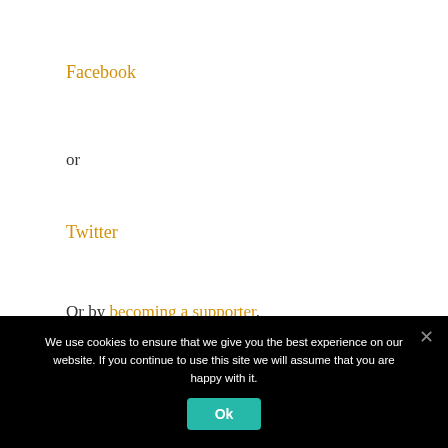Facebook
or
Twitter
Or by becoming a supporter.
We use cookies to ensure that we give you the best experience on our website. If you continue to use this site we will assume that you are happy with it.